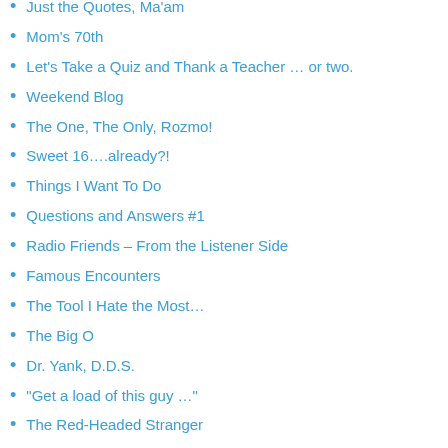Just the Quotes, Ma'am
Mom's 70th
Let's Take a Quiz and Thank a Teacher … or two.
Weekend Blog
The One, The Only, Rozmo!
Sweet 16….already?!
Things I Want To Do
Questions and Answers #1
Radio Friends – From the Listener Side
Famous Encounters
The Tool I Hate the Most…
The Big O
Dr. Yank, D.D.S.
“Get a load of this guy …”
The Red-Headed Stranger
“Don’t Worry, Be Happy”
Birthday Reflections.
Dean and Frank at the Movies …
Have You Used Your Imagination, Lately?
Behind the microphone….
Happy Birthday, Dino!
A Carlson Knight Does What’s Right
30 Day Song Challenge
Some old radio stories…Part 1